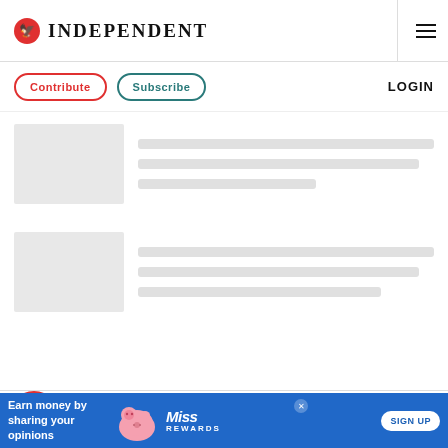INDEPENDENT
[Figure (screenshot): Independent newspaper logo with eagle icon and hamburger menu]
Contribute   Subscribe   LOGIN
[Figure (screenshot): Skeleton loading cards with grey placeholder image and text lines]
[Figure (screenshot): Footer area with Independent eagle logo circle, OUR PRODUCTS heading, Subscribe link, bell notification button, and X close button]
[Figure (screenshot): Advertisement banner: Earn money by sharing your opinions - Miss Rewards SIGN UP]